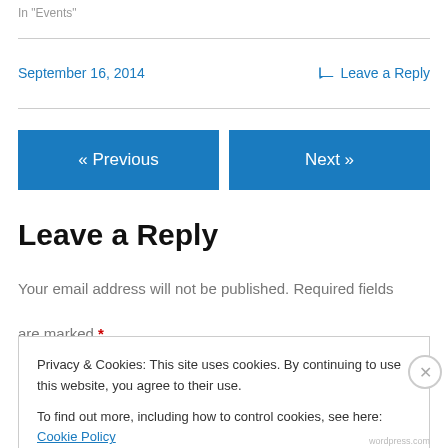In "Events"
September 16, 2014
Leave a Reply
« Previous
Next »
Leave a Reply
Your email address will not be published. Required fields are marked *
Privacy & Cookies: This site uses cookies. By continuing to use this website, you agree to their use.
To find out more, including how to control cookies, see here: Cookie Policy
Close and accept